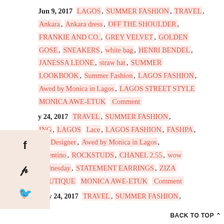Jun 9, 2017 LAGOS, SUMMER FASHION, TRAVEL, Ankara, Ankara dress, OFF THE SHOULDER, FRANKIE AND CO., GREY VELVET, GOLDEN GOSE, SNEAKERS, white bag, HENRI BENDEL, JANESSA LEONE, straw hat, SUMMER LOOKBOOK, Summer Fashion, LAGOS FASHION, Awed by Monica in Lagos, LAGOS STREET STYLE MONICA AWE-ETUK Comment
y 24, 2017 TRAVEL, SUMMER FASHION, ING, LAGOS Lace, LAGOS FASHION, FASHPA, can Designer, Awed by Monica in Lagos, Valentino, ROCKSTUDS, CHANEL 2.55, wow wednesday, STATEMENT EARRINGS, ZIZA BOUTIQUE MONICA AWE-ETUK Comment
May 24, 2017 TRAVEL, SUMMER FASHION,
BACK TO TOP ^